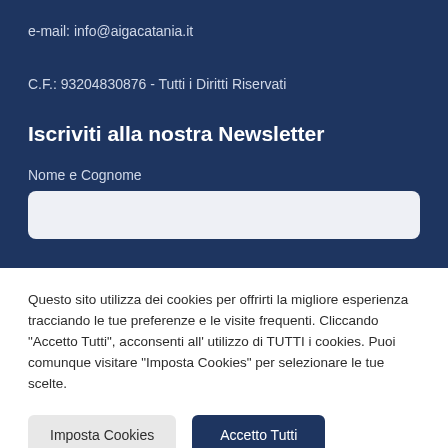e-mail: info@aigacatania.it
C.F.: 93204830876 - Tutti i Diritti Riservati
Iscriviti alla nostra Newsletter
Nome e Cognome
Questo sito utilizza dei cookies per offrirti la migliore esperienza tracciando le tue preferenze e le visite frequenti. Cliccando "Accetto Tutti", acconsenti all' utilizzo di TUTTI i cookies. Puoi comunque visitare "Imposta Cookies" per selezionare le tue scelte.
Imposta Cookies
Accetto Tutti